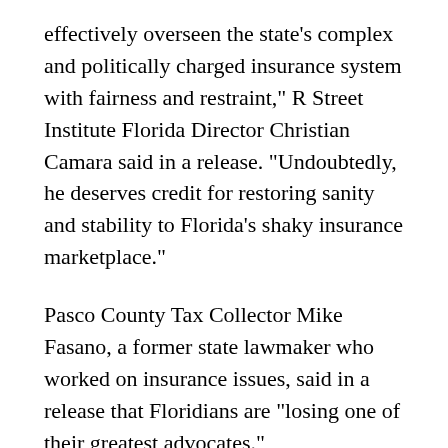effectively overseen the state's complex and politically charged insurance system with fairness and restraint," R Street Institute Florida Director Christian Camara said in a release. "Undoubtedly, he deserves credit for restoring sanity and stability to Florida's shaky insurance marketplace."
Pasco County Tax Collector Mike Fasano, a former state lawmaker who worked on insurance issues, said in a release that Floridians are "losing one of their greatest advocates."
"Commissioner McCarty not only stood up for the consumer, he had an incredible grasp of the complexity of insurance in all its forms," Fasano said. "He understood the grave impact a single word change in statute could have for or against the